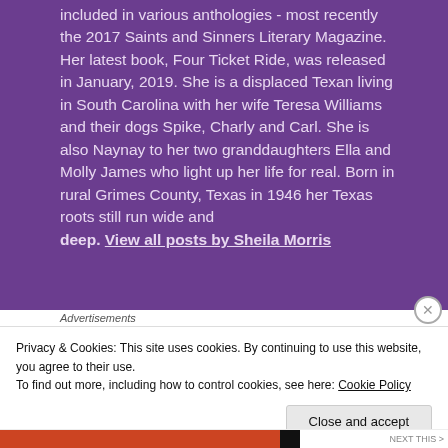included in various anthologies - most recently the 2017 Saints and Sinners Literary Magazine. Her latest book, Four Ticket Ride, was released in January, 2019. She is a displaced Texan living in South Carolina with her wife Teresa Williams and their dogs Spike, Charly and Carl. She is also Naynay to her two granddaughters Ella and Molly James who light up her life for real. Born in rural Grimes County, Texas in 1946 her Texas roots still run wide and deep. View all posts by Sheila Morris
Advertisements
Privacy & Cookies: This site uses cookies. By continuing to use this website, you agree to their use.
To find out more, including how to control cookies, see here: Cookie Policy